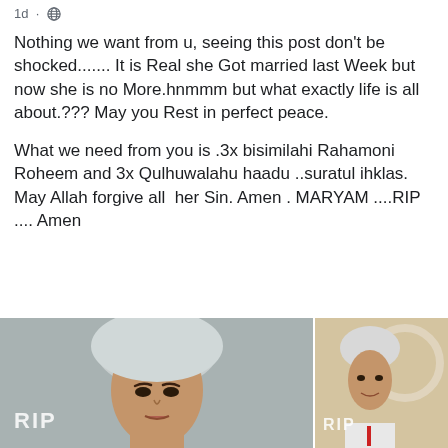1d · 🌐
Nothing we want from u, seeing this post don't be shocked....... It is Real she Got married last Week but now she is no More.hnmmm but what exactly life is all about.??? May you Rest in perfect peace.
What we need from you is .3x bisimilahi Rahamoni Roheem and 3x Qulhuwalahu haadu ..suratul ihklas. May Allah forgive all  her Sin. Amen . MARYAM ....RIP .... Amen
[Figure (photo): Two side-by-side photos of a young woman wearing a hijab, both overlaid with 'RIP' text in white. Left photo shows a close-up portrait against a grey background. Right photo shows her in a white outfit against a lighter background.]